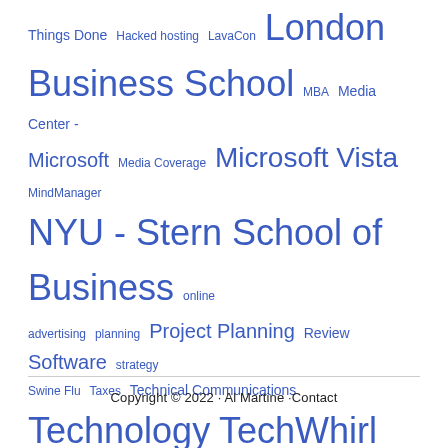Things Done Hacked hosting LavaCon London Business School MBA Media Center - Microsoft Media Coverage Microsoft Vista MindManager NYU - Stern School of Business online advertising planning Project Planning Review Software strategy Swine Flu Taxes Technical Communications Technology TechWhirl Travel Turn-Around Management Valuation Windows 7 Windows Media Player WordPress WritersUA WVU Sports
Copyright © 2022 · Al Martine ·Contact